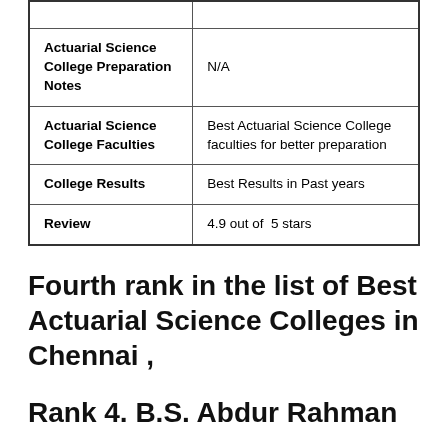|  |  |
| Actuarial Science College Preparation Notes | N/A |
| Actuarial Science College Faculties | Best Actuarial Science College faculties for better preparation |
| College Results | Best Results in Past years |
| Review | 4.9 out of  5 stars |
Fourth rank in the list of Best Actuarial Science Colleges in Chennai ,
Rank 4. B.S. Abdur Rahman